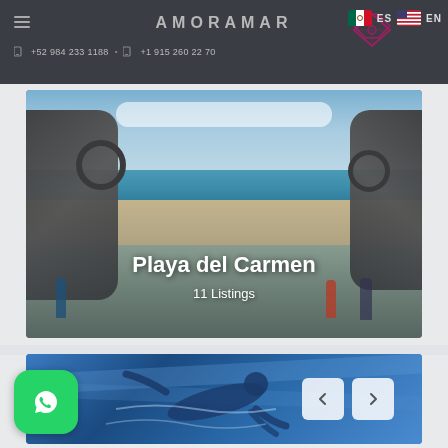AMORAMAR | +52 984 233 1188 | +1 915 260 22 70 | ES | EN
[Figure (photo): Playa del Carmen landmark sculpture archway with beach view, tourists walking]
Playa del Carmen
11 Listings
[Figure (photo): Underwater swimmer/surfer silhouette in blue water]